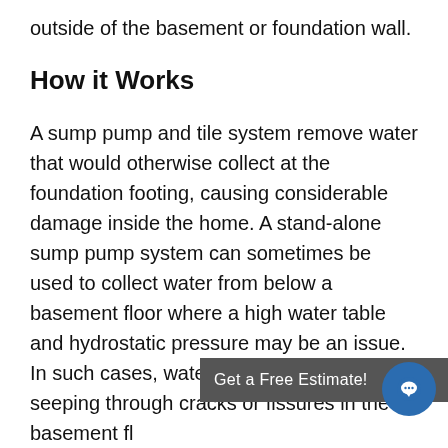outside of the basement or foundation wall.
How it Works
A sump pump and tile system remove water that would otherwise collect at the foundation footing, causing considerable damage inside the home. A stand-alone sump pump system can sometimes be used to collect water from below a basement floor where a high water table and hydrostatic pressure may be an issue. In such cases, water will typically be seen seeping through cracks or fissures in the basement fl
In some locales, sump pits and pumps are part